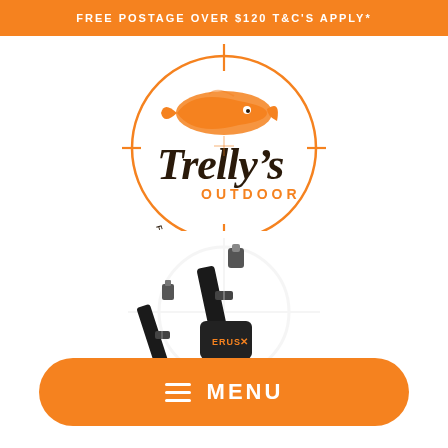FREE POSTAGE OVER $120 T&C'S APPLY*
[Figure (logo): Trelly's Outdoor logo - orange circular design with fish and crosshair, script text reading Trelly's, with OUTDOOR and FISHING | CAMPING | HUNTING text]
[Figure (photo): Black rifle sling / gun strap product photo on white background with watermark crosshair logo]
≡  MENU